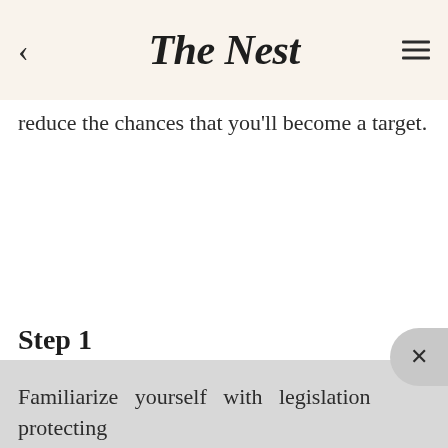The Nest
reduce the chances that you'll become a target.
Step 1
Familiarize yourself with legislation protecting